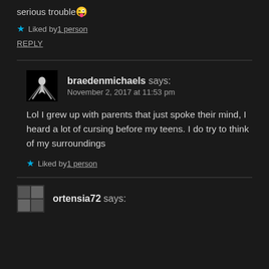serious trouble 😜
★ Liked by 1 person
REPLY
braedenmichaels says: November 2, 2017 at 11:53 pm
Lol I grew up with parents that just spoke their mind, I heard a lot of cursing before my teens. I do try to think of my surroundings
★ Liked by 1 person
ortensia72 says: